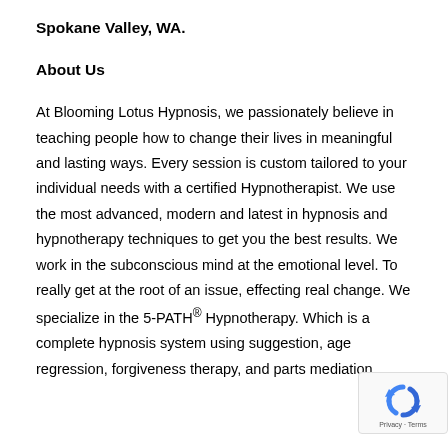Spokane Valley, WA.
About Us
At Blooming Lotus Hypnosis, we passionately believe in teaching people how to change their lives in meaningful and lasting ways. Every session is custom tailored to your individual needs with a certified Hypnotherapist. We use the most advanced, modern and latest in hypnosis and hypnotherapy techniques to get you the best results. We work in the subconscious mind at the emotional level. To really get at the root of an issue, effecting real change. We specialize in the 5-PATH® Hypnotherapy. Which is a complete hypnosis system using suggestion, age regression, forgiveness therapy, and parts mediation
[Figure (logo): reCAPTCHA badge with rotating arrows icon and Privacy - Terms text]